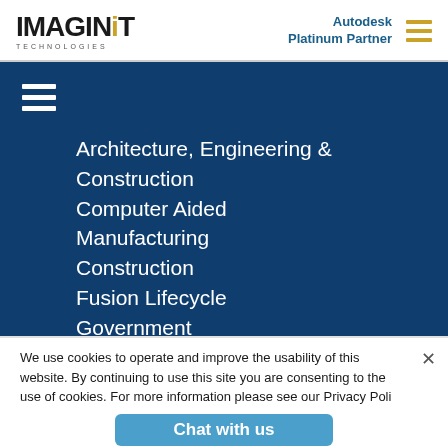[Figure (logo): IMAGINiT Technologies logo with golden dot on letter i, TECHNOLOGIES text below]
Autodesk Platinum Partner
Architecture, Engineering & Construction
Computer Aided Manufacturing
Construction
Fusion Lifecycle
Government
Product Design &
We use cookies to operate and improve the usability of this website. By continuing to use this site you are consenting to the use of cookies. For more information please see our Privacy Policy
Chat with us